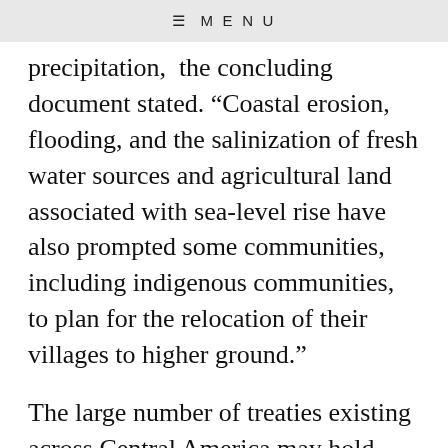≡ MENU
precipitation,  the concluding document stated. “Coastal erosion, flooding, and the salinization of fresh water sources and agricultural land associated with sea-level rise have also prompted some communities, including indigenous communities, to plan for the relocation of their villages to higher ground.”
The large number of treaties existing across Central America may hold potential lessons for the U.S. for dealing with future climate-related migration. Now, the only tool the nation has is the ability to grant temporary